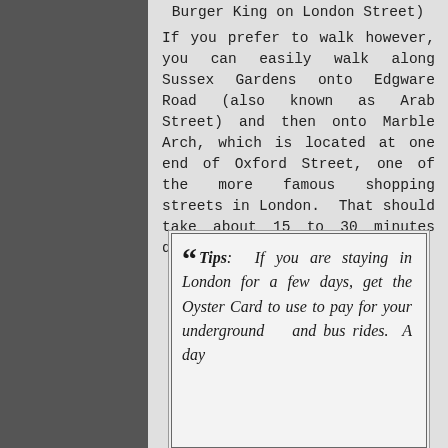Burger King on London Street)
If you prefer to walk however, you can easily walk along Sussex Gardens onto Edgware Road (also known as Arab Street) and then onto Marble Arch, which is located at one end of Oxford Street, one of the more famous shopping streets in London.  That should take about 15 to 30 minutes depending on your pace.
Tips: If you are staying in London for a few days, get the Oyster Card to use to pay for your underground and bus rides. A day